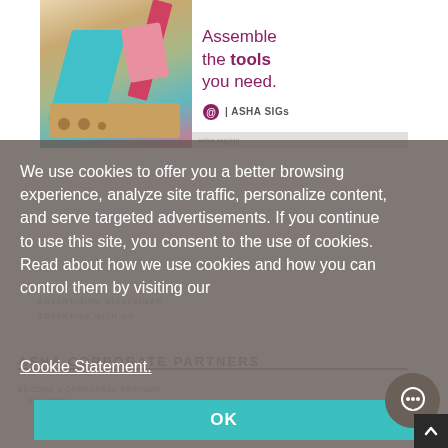[Figure (illustration): ASHA SIGs advertisement banner: colorful toy tools illustration on left, text 'Assemble the tools you need.' with ASHA SIGs logo on right, purple/maroon color scheme]
ADVERTISING DISCLAIMER
ADVERTISE WITH US
We use cookies to offer you a better browsing experience, analyze site traffic, personalize content, and serve targeted advertisements. If you continue to use this site, you consent to the use of cookies. Read about how we use cookies and how you can control them by visiting our
Cookie Statement.
ASHA CORPORATE PARTNERS
OK
BECOME A CORPORATE PARTNER
POLICIES